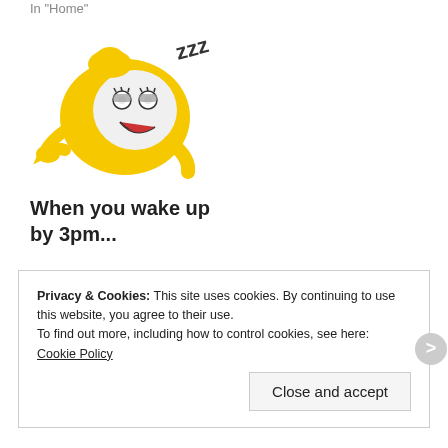In "Home"
[Figure (illustration): A yellow cartoon alarm clock character lying down and sleeping, with ZZZ floating above it, white face, open mouth, wearing a yellow shell-shaped body.]
When you wake up by 3pm...
Jun 8, 2013
In "Inspirational"
Privacy & Cookies: This site uses cookies. By continuing to use this website, you agree to their use.
To find out more, including how to control cookies, see here: Cookie Policy
Close and accept